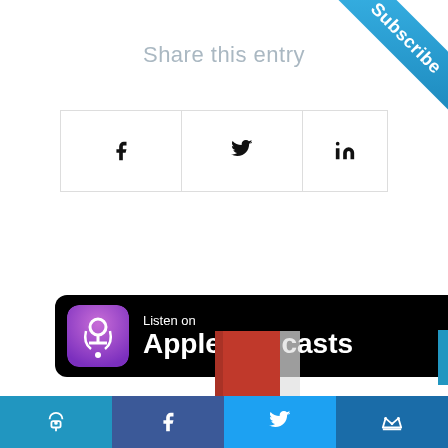Share this entry
[Figure (infographic): Social share buttons row with Facebook (f), Twitter (bird icon), and LinkedIn (in) icons in bordered boxes]
[Figure (logo): Listen on Apple Podcasts badge — black rounded rectangle with purple podcast icon and white text 'Listen on Apple Podcasts']
[Figure (infographic): Subscribe ribbon in blue on top-right corner with white bold text 'Subscribe']
[Figure (infographic): Bottom navigation bar with four colored sections: teal with podcast icon, dark blue with Facebook f, light blue with Twitter bird, medium blue with crown icon]